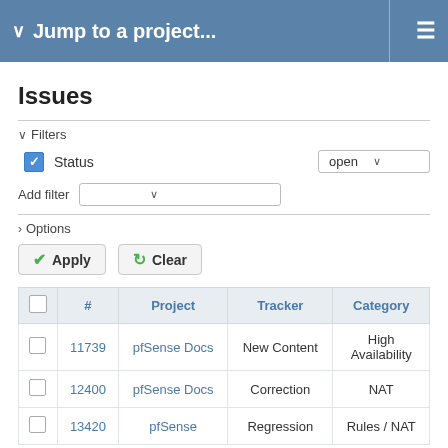Jump to a project...
Issues
Filters
Status   open
Add filter
Options
Apply   Clear
|  | # | Project | Tracker | Category |
| --- | --- | --- | --- | --- |
|  | 11739 | pfSense Docs | New Content | High Availability |
|  | 12400 | pfSense Docs | Correction | NAT |
|  | 13420 | pfSense | Regression | Rules / NAT |